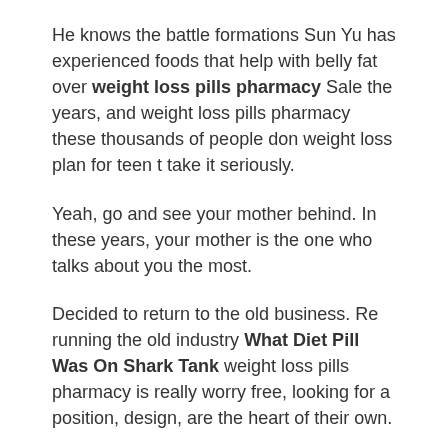He knows the battle formations Sun Yu has experienced foods that help with belly fat over weight loss pills pharmacy Sale the years, and weight loss pills pharmacy these thousands of people don weight loss plan for teen t take it seriously.
Yeah, go and see your mother behind. In these years, your mother is the one who talks about you the most.
Decided to return to the old business. Re running the old industry What Diet Pill Was On Shark Tank weight loss pills pharmacy is really worry free, looking for a position, design, are the heart of their own.
He was carrying him by his side, he thought The elite confidant.